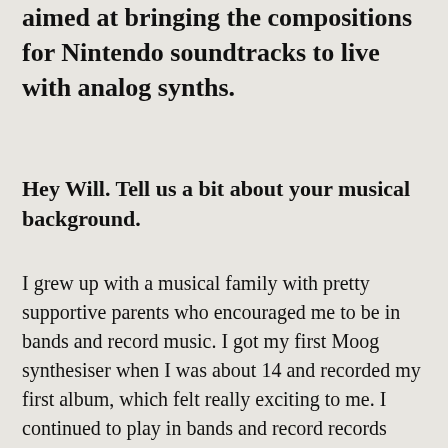aimed at bringing the compositions for Nintendo soundtracks to live with analog synths.
Hey Will. Tell us a bit about your musical background.
I grew up with a musical family with pretty supportive parents who encouraged me to be in bands and record music. I got my first Moog synthesiser when I was about 14 and recorded my first album, which felt really exciting to me. I continued to play in bands and record records when I was picked up by Capitol Records band Sound Team and recruited as their Moog player. So, I graduated high school early and moved to